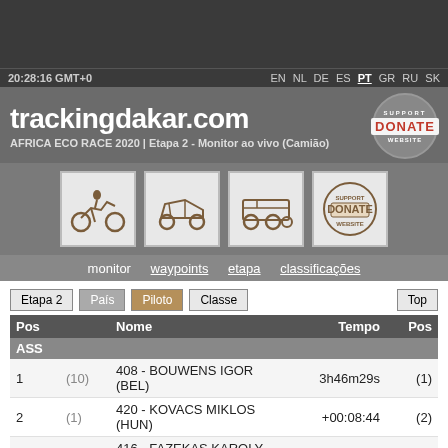20:28:16 GMT+0   EN NL DE ES PT GR RU SK
trackingdakar.com
AFRICA ECO RACE 2020 | Etapa 2 - Monitor ao vivo (Camião)
monitor   waypoints   etapa   classificações
Etapa 2   País   Piloto   Classe   Top
| Pos |  | Nome | Tempo | Pos |
| --- | --- | --- | --- | --- |
| ASS |  |  |  |  |
| 1 | (10) | 408 - BOUWENS IGOR (BEL) | 3h46m29s | (1) |
| 2 | (1) | 420 - KOVACS MIKLOS (HUN) | +00:08:44 | (2) |
| 3 | (11) | 416 - FAZEKAS KAROLY (HUN) | +00:21:32 | (3) |
| 4 | (7) | 400 - ESSERS NOEL (BEL) | +00:35:36 | (4) |
| 5 | (6) | 402 - ELFRINK JOHAN (NLD) | +00:47:12 | (5) |